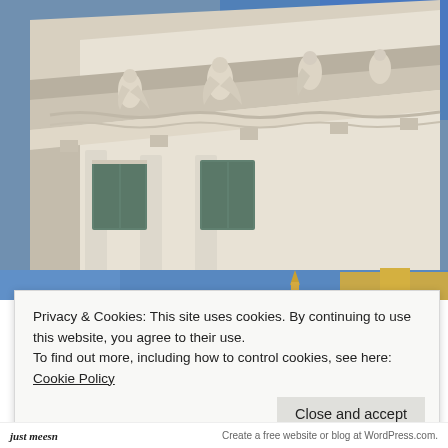[Figure (photo): Close-up photograph of an ornate classical European building facade shot at an angle looking up, showing white decorative sculptures/figurines, ornamental moldings, columns, windows with green frames, and a blue sky in the background. A second narrow strip shows more of the city below with a blue sky and golden church spire.]
Privacy & Cookies: This site uses cookies. By continuing to use this website, you agree to their use.
To find out more, including how to control cookies, see here: Cookie Policy
Close and accept
just meesn | Create a free website or blog at WordPress.com.